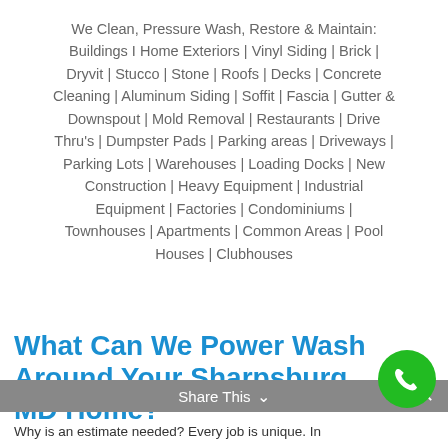We Clean, Pressure Wash, Restore & Maintain: Buildings I Home Exteriors | Vinyl Siding | Brick | Dryvit | Stucco | Stone | Roofs | Decks | Concrete Cleaning | Aluminum Siding | Soffit | Fascia | Gutter & Downspout | Mold Removal | Restaurants | Drive Thru's | Dumpster Pads | Parking areas | Driveways | Parking Lots | Warehouses | Loading Docks | New Construction | Heavy Equipment | Industrial Equipment | Factories | Condominiums | Townhouses | Apartments | Common Areas | Pool Houses | Clubhouses
What Can We Power Wash Around Your Sharpsburg, MD Home?
Share This
Why is an estimate needed? Every job is unique. In